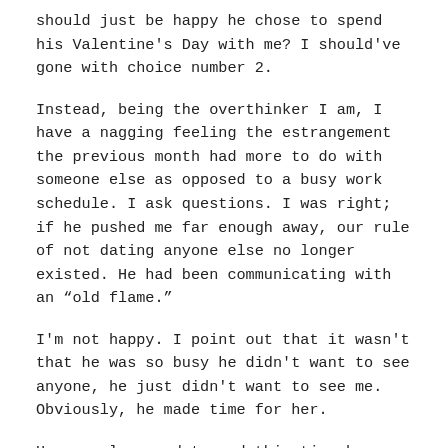should just be happy he chose to spend his Valentine's Day with me?  I should've gone with choice number 2.
Instead, being the overthinker I am, I have a nagging feeling the estrangement the previous month had more to do with someone else as opposed to a busy work schedule.  I ask questions.  I was right; if he pushed me far enough away, our rule of not dating anyone else no longer existed.  He had been communicating with an “old flame.”
I'm not happy.  I point out that it wasn't that he was so busy he didn't want to see anyone, he just didn't want to see me.  Obviously, he made time for her.
He cancels our date and this time he dumps me.  On Valentine's Day.  Via Facebook.
In today's world, would dumping someone via Facebook